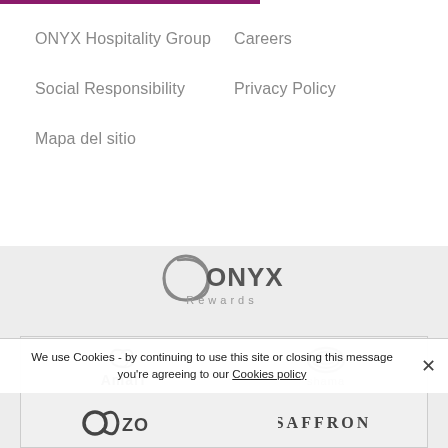ONYX Hospitality Group
Careers
Social Responsibility
Privacy Policy
Mapa del sitio
[Figure (logo): ONYX Rewards logo with stylized circular swirl mark, grey text]
[Figure (logo): Amari brand logo with spiral mark]
[Figure (logo): Shama brand logo with shell/swirl mark]
[Figure (logo): OZO brand logo]
[Figure (logo): SAFFRON brand logo in serif capitals]
We use Cookies - by continuing to use this site or closing this message you're agreeing to our Cookies policy